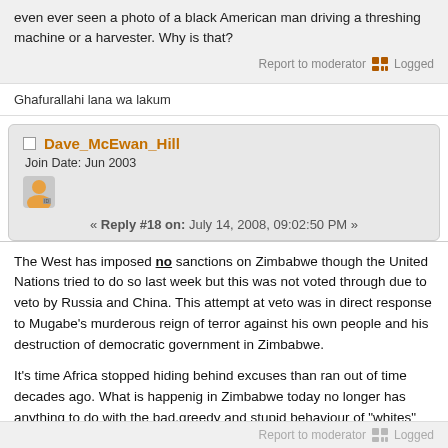even ever seen a photo of a black American man driving a threshing machine or a harvester. Why is that?
Report to moderator   Logged
Ghafurallahi lana wa lakum
Dave_McEwan_Hill
Join Date: Jun 2003
« Reply #18 on: July 14, 2008, 09:02:50 PM »
The West has imposed no sanctions on Zimbabwe though the United Nations tried to do so last week but this was not voted through due to veto by Russia and China. This attempt at veto was in direct response to Mugabe's murderous reign of terror against his own people and his destruction of democratic government in Zimbabwe.
It's time Africa stopped hiding behind excuses than ran out of time decades ago. What is happenig in Zimbabwe today no longer has anything to do with the bad,greedy and stupid behaviour of "whites" that caused such problems in Africa in the past.
Until Africa stops the comfortable habit of blaming all its problems on other people nothing will be sorted.
Report to moderator   Logged